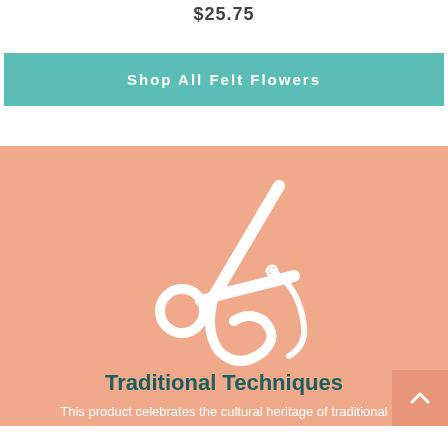$25.75
Shop All Felt Flowers
[Figure (illustration): White scissors and needle/thread icon on peach/salmon background]
Traditional Techniques
This product celebrates the cultural heritage of traditional